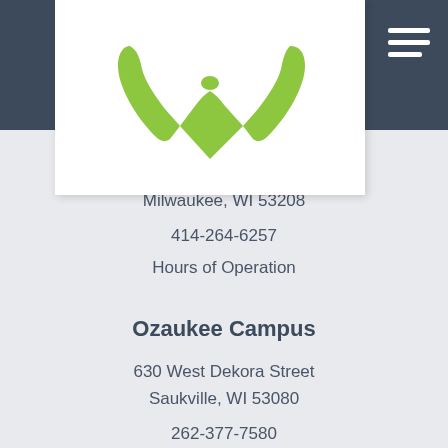[Figure (logo): Wisconsin Humane Society logo with green W-shape and text]
West Wisconsin Avenue
Milwaukee, WI 53208
414-264-6257
Hours of Operation
Ozaukee Campus
630 West Dekora Street
Saukville, WI 53080
262-377-7580
Hours of Operation
Racine Campus
8900 16th Street
Mount Pleasant, WI 53177